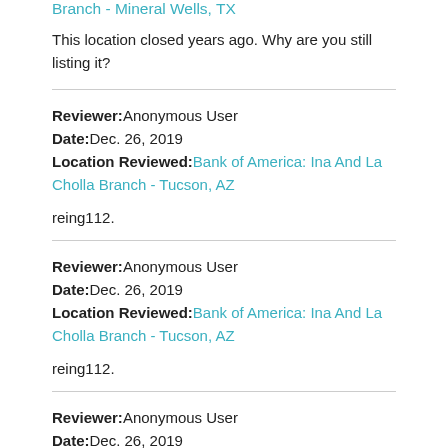Branch - Mineral Wells, TX
This location closed years ago. Why are you still listing it?
Reviewer: Anonymous User
Date: Dec. 26, 2019
Location Reviewed: Bank of America: Ina And La Cholla Branch - Tucson, AZ
reing112.
Reviewer: Anonymous User
Date: Dec. 26, 2019
Location Reviewed: Bank of America: Ina And La Cholla Branch - Tucson, AZ
reing112.
Reviewer: Anonymous User
Date: Dec. 26, 2019
Location Reviewed: Bank of America: Ina And La